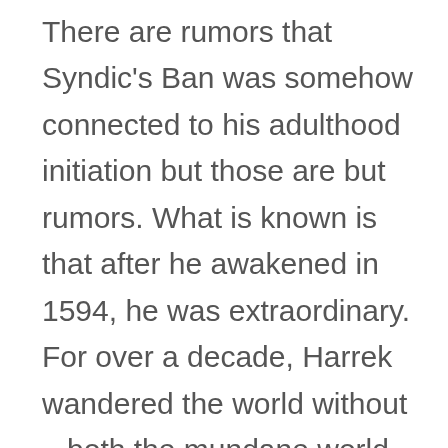normal Kathon warrior. There are rumors that Syndic's Ban was somehow connected to his adulthood initiation but those are but rumors. What is known is that after he awakened in 1594, he was extraordinary. For over a decade, Harrek wandered the world without – both the mundane world AND the mythic realms. Stories of him as a penniless mercenary, a slave, a Lunar gladiator, etc., are often